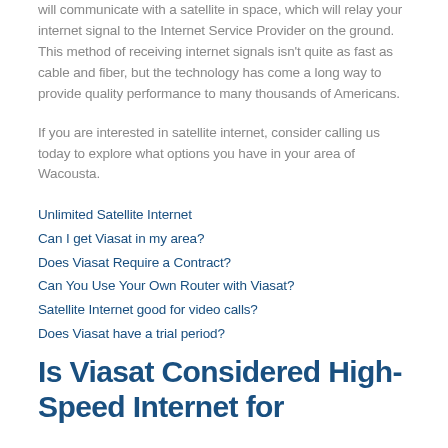will communicate with a satellite in space, which will relay your internet signal to the Internet Service Provider on the ground. This method of receiving internet signals isn't quite as fast as cable and fiber, but the technology has come a long way to provide quality performance to many thousands of Americans.
If you are interested in satellite internet, consider calling us today to explore what options you have in your area of Wacousta.
Unlimited Satellite Internet
Can I get Viasat in my area?
Does Viasat Require a Contract?
Can You Use Your Own Router with Viasat?
Satellite Internet good for video calls?
Does Viasat have a trial period?
Is Viasat Considered High-Speed Internet for